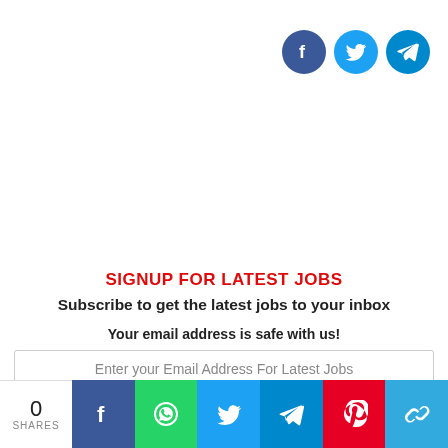[Figure (illustration): Three social media icon circles in top-right: Facebook (dark blue), Twitter (light blue), Telegram (blue with paper-plane icon)]
SIGNUP FOR LATEST JOBS
Subscribe to get the latest jobs to your inbox
Your email address is safe with us!
Enter your Email Address For Latest Jobs
[Figure (infographic): Social share bar at bottom with 0 SHARES count, and buttons for Facebook, WhatsApp, Twitter, Telegram, Pinterest, and Copy Link]